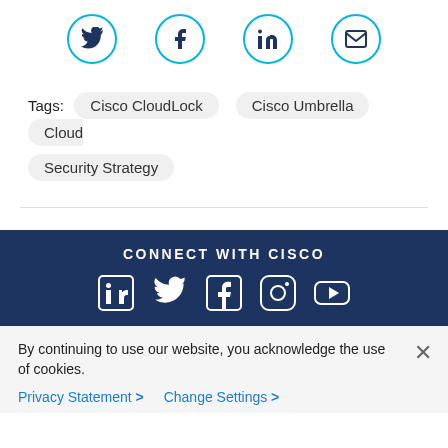[Figure (other): Four social media share icons in cyan circles: Twitter bird, Facebook f, LinkedIn in, Email envelope]
Tags: Cisco CloudLock   Cisco Umbrella   Cloud Security Strategy
[Figure (other): Horizontal divider line]
CONNECT WITH CISCO
[Figure (other): Footer social media icons: LinkedIn, Twitter, Facebook, Instagram, YouTube]
By continuing to use our website, you acknowledge the use of cookies.
Privacy Statement >   Change Settings >